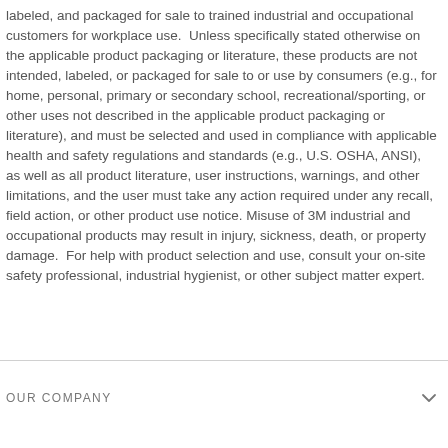labeled, and packaged for sale to trained industrial and occupational customers for workplace use.  Unless specifically stated otherwise on the applicable product packaging or literature, these products are not intended, labeled, or packaged for sale to or use by consumers (e.g., for home, personal, primary or secondary school, recreational/sporting, or other uses not described in the applicable product packaging or literature), and must be selected and used in compliance with applicable health and safety regulations and standards (e.g., U.S. OSHA, ANSI), as well as all product literature, user instructions, warnings, and other limitations, and the user must take any action required under any recall, field action, or other product use notice. Misuse of 3M industrial and occupational products may result in injury, sickness, death, or property damage.  For help with product selection and use, consult your on-site safety professional, industrial hygienist, or other subject matter expert.
OUR COMPANY